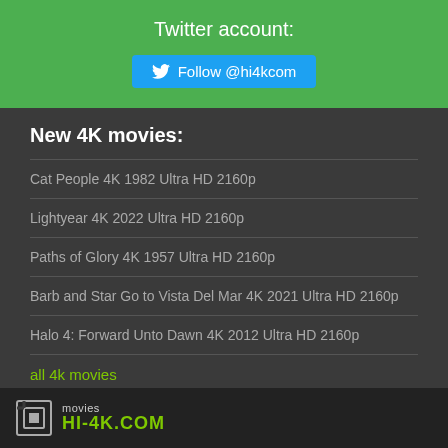Twitter account:
[Figure (other): Twitter Follow button linking to @hi4kcom]
New 4K movies:
Cat People 4K 1982 Ultra HD 2160p
Lightyear 4K 2022 Ultra HD 2160p
Paths of Glory 4K 1957 Ultra HD 2160p
Barb and Star Go to Vista Del Mar 4K 2021 Ultra HD 2160p
Halo 4: Forward Unto Dawn 4K 2012 Ultra HD 2160p
all 4k movies
movies HI-4K.COM